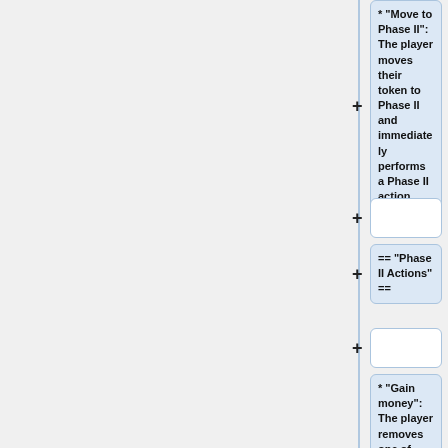* '''Move to Phase II''': The player moves their token to Phase II and immediately performs a Phase II action.
== '''Phase II Actions''' ==
* '''Gain money''': The player removes one of their workers from the market and chooses a card adjacent to the